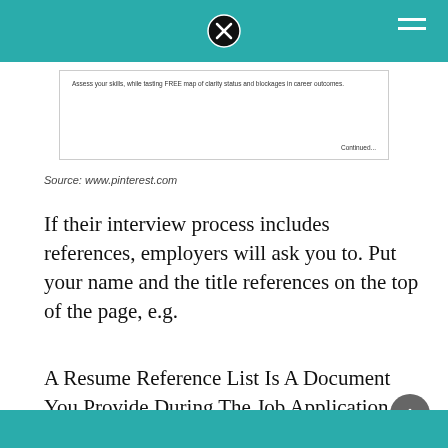[Figure (screenshot): Screenshot of a document box with small text and 'Continued...' at the bottom right]
Source: www.pinterest.com
If their interview process includes references, employers will ask you to. Put your name and the title references on the top of the page, e.g.
A Resume Reference List Is A Document You Provide During The Job Application Process That Consists Of Professional References, Their Contact Details And Their Relation To